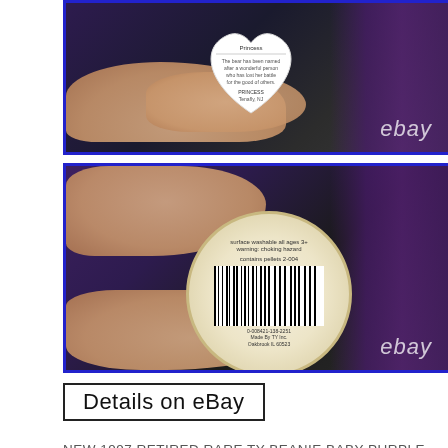[Figure (photo): Photo of hands holding a Ty Beanie Baby heart-shaped tag, showing text on the tag. Blue border. eBay watermark visible.]
[Figure (photo): Photo of hands holding a circular gold/cream Ty Beanie Baby tag showing a barcode. Blue border. eBay watermark visible.]
Details on eBay
NEW 1997 RETIRED RARE TY BEANIE BABY PURPLE BEAR PRINCESS DIANA. SEE PHOTOS FOR BEST DESCRIPTION. I HOPE YOU WILL CHECKOUT THE MANY OTHER ITEMS IN MY STORE. THANK YOU FOR